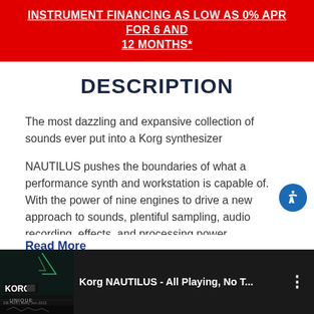INSTRUMENT FINANCING AS LOW AS 0% APR FOR 6 AND 12 MONTHS*
DESCRIPTION
The most dazzling and expansive collection of sounds ever put into a Korg synthesizer
NAUTILUS pushes the boundaries of what a performance synth and workstation is capable of. With the power of nine engines to drive a new approach to sounds, plentiful sampling, audio recording, effects, and processing power, there is simply no other synth that delivers more to explore…
Read More
[Figure (screenshot): YouTube video thumbnail showing 'Korg NAUTILUS - All Playing, No T...' with KORG logo on dark background]